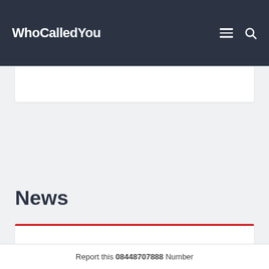WhoCalledYou
News
Report this 08448707888 Number